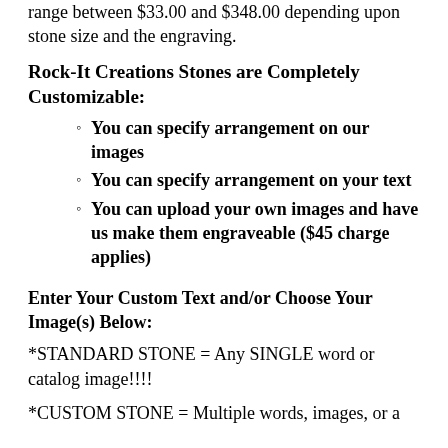range between $33.00 and $348.00 depending upon stone size and the engraving.
Rock-It Creations Stones are Completely Customizable:
You can specify arrangement on our images
You can specify arrangement on your text
You can upload your own images and have us make them engraveable ($45 charge applies)
Enter Your Custom Text and/or Choose Your Image(s) Below:
*STANDARD STONE = Any SINGLE word or catalog image!!!!
*CUSTOM STONE = Multiple words, images, or a